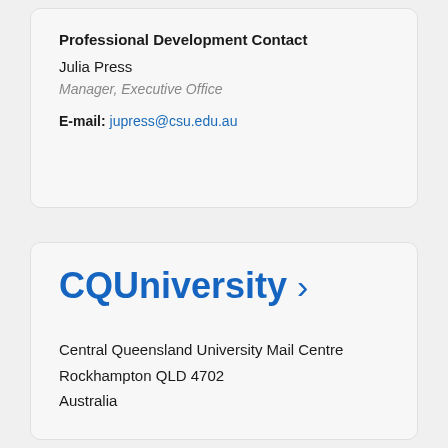Professional Development Contact
Julia Press
Manager, Executive Office
E-mail: jupress@csu.edu.au
CQUniversity ›
Central Queensland University Mail Centre
Rockhampton QLD 4702
Australia